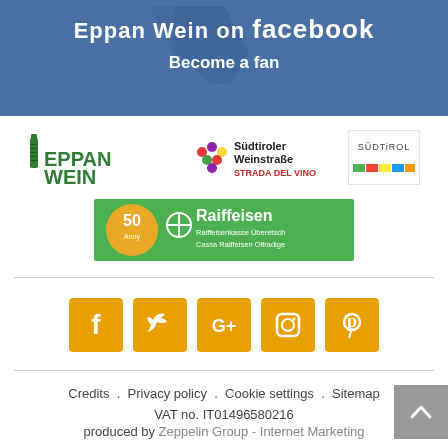[Figure (other): Facebook banner with 'Eppan Wein on facebook - Become a fan' promo section in blue]
[Figure (logo): Eppan Wein logo (green bottle and text)]
[Figure (logo): Südtiroler Weinstraße / Strada del Vino logo]
[Figure (logo): Südtirol logo]
[Figure (logo): Raiffeisen Raiffeisenkasse Überetsch / Cassa Raiffeisen Oltradige 50 anni logo on green background]
[Figure (other): Social media icons row: Facebook, Twitter, Google+, Instagram, Pinterest — all on orange/amber square backgrounds]
Credits . Privacy policy . Cookie settings . Sitemap
VAT no. IT01496580216
produced by Zeppelin Group - Internet Marketing